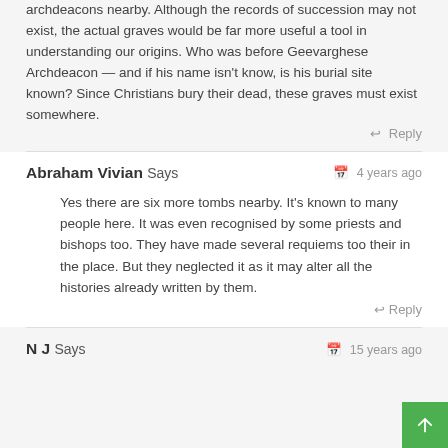archdeacons nearby. Although the records of succession may not exist, the actual graves would be far more useful a tool in understanding our origins. Who was before Geevarghese Archdeacon — and if his name isn't know, is his burial site known? Since Christians bury their dead, these graves must exist somewhere.
↩ Reply
Abraham Vivian Says
4 years ago
Yes there are six more tombs nearby. It's known to many people here. It was even recognised by some priests and bishops too. They have made several requiems too their in the place. But they neglected it as it may alter all the histories already written by them.
↩ Reply
N J Says
15 years ago